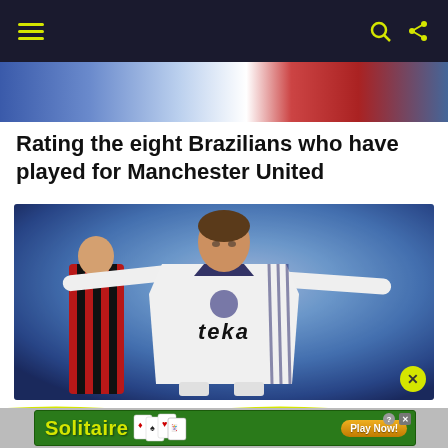[Figure (other): Website navigation bar with dark navy background, yellow hamburger menu icon on left, and yellow icons (crescent/dark mode, search, share) on right]
[Figure (photo): Partial photo strip showing football players in blue and red/white kits]
Rating the eight Brazilians who have played for Manchester United
[Figure (photo): Football player in white Real Madrid jersey with 'teka' sponsor, arms outstretched in celebration. A player in red/black striped kit visible in background.]
[Figure (other): Advertisement banner with green background showing 'Solitaire' game with yellow text, card graphics, and 'Play Now!' orange button. Help and close icons in top right.]